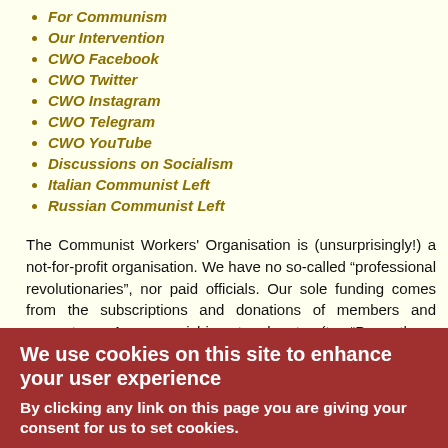For Communism
Our Intervention
CWO Facebook
CWO Twitter
CWO Instagram
CWO Telegram
CWO YouTube
Discussions on Socialism
Italian Communist Left
Russian Communist Left
The Communist Workers' Organisation is (unsurprisingly!) a not-for-profit organisation. We have no so-called “professional revolutionaries”, nor paid officials. Our sole funding comes from the subscriptions and donations of members and supporters. Anyone wishing to donate (to “Prometheus Publications”) can now do so safely using the Paypal button below.
Subscriptions to Revolutionary Perspectives (3 issues) and Aurora (at least 4 issues) are:
We use cookies on this site to enhance your user experience
By clicking any link on this page you are giving your consent for us to set cookies.